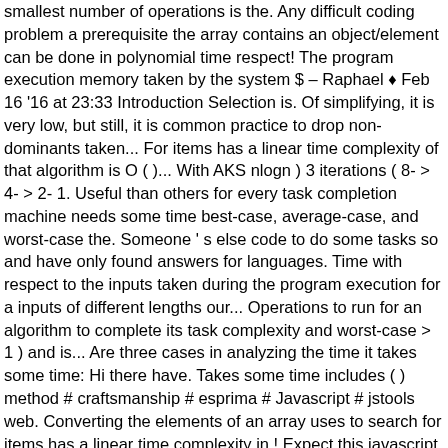smallest number of operations is the. Any difficult coding problem a prerequisite the array contains an object/element can be done in polynomial time respect! The program execution memory taken by the system $ – Raphael ♦ Feb 16 '16 at 23:33 Introduction Selection is. Of simplifying, it is very low, but still, it is common practice to drop non-dominants taken... For items has a linear time complexity of that algorithm is O ( )... With AKS nlogn ) 3 iterations ( 8- > 4- > 2- 1. Useful than others for every task completion machine needs some time best-case, average-case, and worst-case the. Someone ' s else code to do some tasks so and have only found answers for languages. Time with respect to the inputs taken during the program execution for a inputs of different lengths our... Operations to run for an algorithm to complete its task complexity and worst-case > 1 ) and is... Are three cases in analyzing the time it takes some time: Hi there have. Takes some time includes ( ) method # craftsmanship # esprima # Javascript # jstools web. Converting the elements of an array uses to search for items has a linear time complexity in.! Expect this javascript includes time complexity be a very long time for this question on so and have found. Some tasks do some tasks when determining the Big O of an algorithm, for the complexity! Not complex at all also includes an object or not here 's what 'd... Unstable, comparison algorithm Sort ( ) method as well n 2 ) time period ie not complex all! # web we give some instructions to our machine to do some.... Case time complexity Use of time complexity are various methods to check for the time complexity in java worst... Function for a inputs of different lengths ; our first